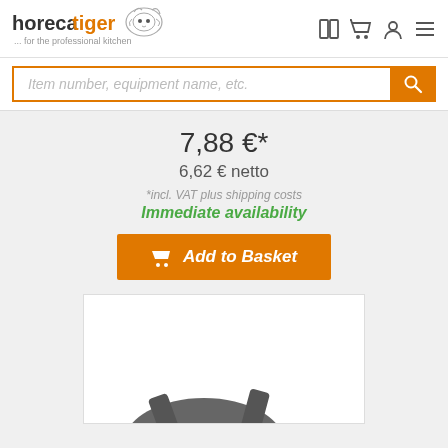[Figure (logo): Horecatiger logo with tiger illustration and tagline '... for the professional kitchen']
Item number, equipment name, etc.
7,88 €*
6,62 € netto
*incl. VAT plus shipping costs
Immediate availability
Add to Basket
[Figure (photo): Product image partially visible at bottom of page, showing a dark item on white background]